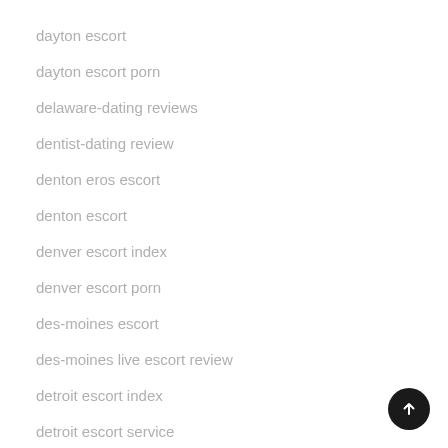dayton escort
dayton escort porn
delaware-dating reviews
dentist-dating review
denton eros escort
denton escort
denver escort index
denver escort porn
des-moines escort
des-moines live escort review
detroit escort index
detroit escort service
detroit escort sites